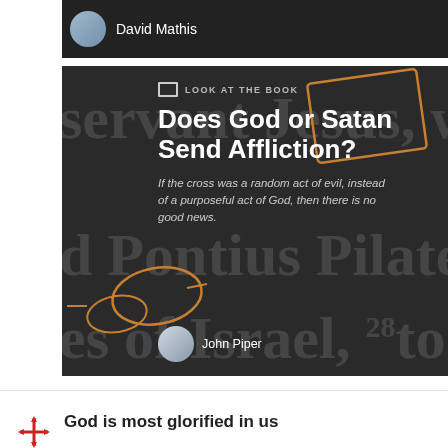[Figure (screenshot): Top card with dark background showing avatar and author name 'David Mathis']
[Figure (screenshot): Main card with dark background showing 'Look at the Book' video label, title 'Does God or Satan Send Affliction?', subtitle 'If the cross was a random act of evil, instead of a purposeful act of God, then there is no good news.', and author 'John Piper' with avatar]
God is most glorified in us